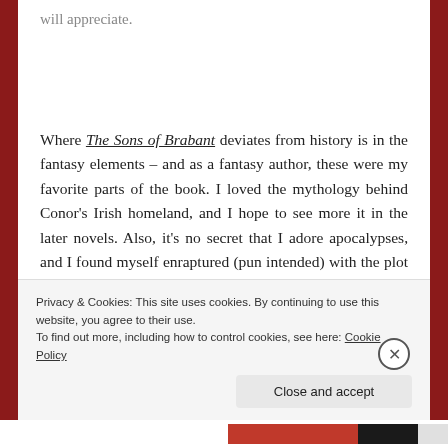will appreciate.
Where The Sons of Brabant deviates from history is in the fantasy elements – and as a fantasy author, these were my favorite parts of the book. I loved the mythology behind Conor's Irish homeland, and I hope to see more it in the later novels. Also, it's no secret that I adore apocalypses, and I found myself enraptured (pun intended) with the plot to bring about the Rapture. The
Privacy & Cookies: This site uses cookies. By continuing to use this website, you agree to their use.
To find out more, including how to control cookies, see here: Cookie Policy
Close and accept